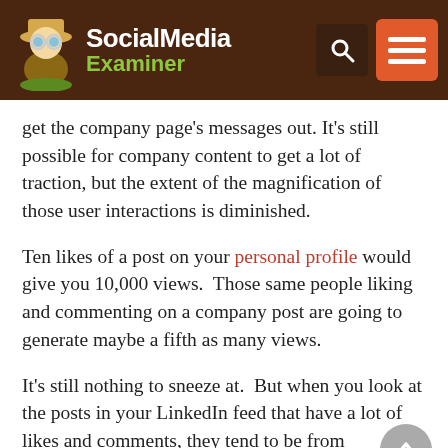Social Media Examiner
get the company page's messages out. It's still possible for company content to get a lot of traction, but the extent of the magnification of those user interactions is diminished.
Ten likes of a post on your personal profile would give you 10,000 views. Those same people liking and commenting on a company post are going to generate maybe a fifth as many views.
It's still nothing to sneeze at. But when you look at the posts in your LinkedIn feed that have a lot of likes and comments, they tend to be from individuals, not businesses.